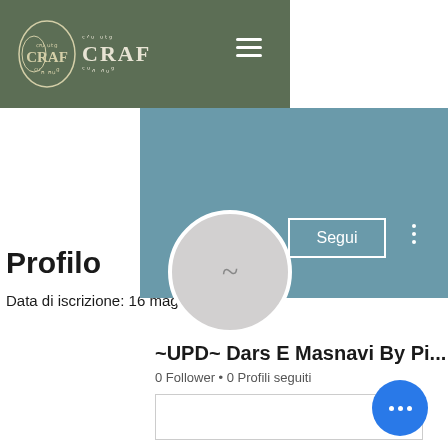[Figure (logo): CRAF organization logo with decorative text in green nav bar]
[Figure (photo): Teal/blue-green cover banner image]
Segui
[Figure (photo): Gray circular avatar with tilde symbol]
~UPD~ Dars E Masnavi By Pi...
0 Follower • 0 Profili seguiti
[Figure (other): Dropdown box with chevron]
Profilo
Data di iscrizione: 16 mag 2022